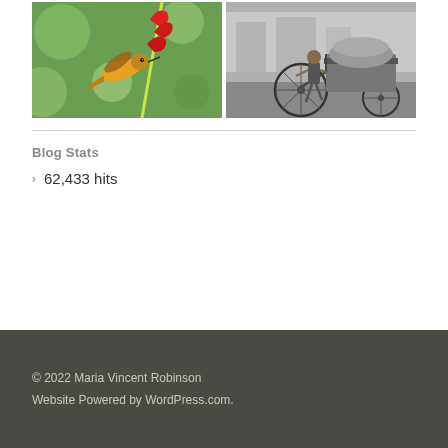[Figure (photo): Two photos side by side: left shows a hummingbird feeding on a red flower with green bokeh background; right shows a black-and-white photo of a man pushing a loaded rickshaw/cart with bicycle wheel]
Blog Stats
62,433 hits
© 2022 Maria Vincent Robinson
Website Powered by WordPress.com.